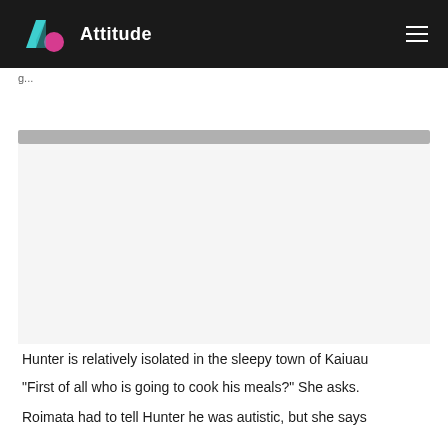Attitude
Hunter is relatively isolated in the sleepy town of Kaiuau
“First of all who is going to cook his meals?” She asks.
Roimata had to tell Hunter he was autistic, but she says